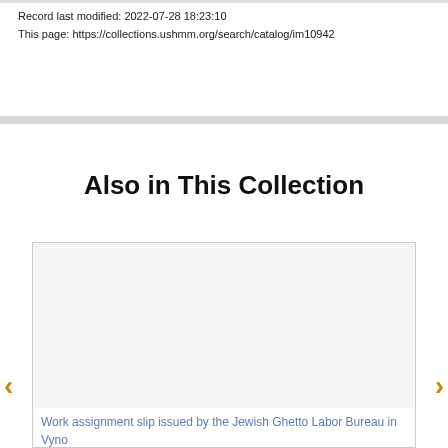Record last modified: 2022-07-28 18:23:10
This page: https://collections.ushmm.org/search/catalog/im10942
Also in This Collection
[Figure (screenshot): Carousel card showing a document image placeholder and a link text: Work assignment slip issued by the Jewish Ghetto Labor Bureau in Vyno]
Work assignment slip issued by the Jewish Ghetto Labor Bureau in Vyno